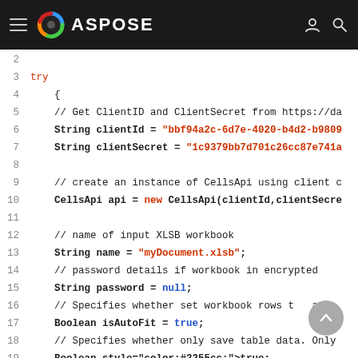ASPOSE
Code listing showing Java code using Aspose CellsApi
[Figure (screenshot): Scroll to top button (chevron-up icon in a gray circle)]